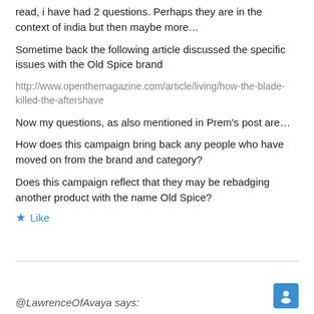read, i have had 2 questions. Perhaps they are in the context of india but then maybe more…
Sometime back the following article discussed the specific issues with the Old Spice brand
http://www.openthemagazine.com/article/living/how-the-blade-killed-the-aftershave
Now my questions, as also mentioned in Prem's post are…
How does this campaign bring back any people who have moved on from the brand and category?
Does this campaign reflect that they may be rebadging another product with the name Old Spice?
★ Like
@LawrenceOfAvaya says: